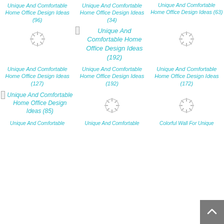[Figure (screenshot): Screenshot of a webpage showing a grid of image thumbnails with cyan/teal italic links for 'Unique And Comfortable Home Office Design Ideas' with various counts, plus loading spinners for images not yet loaded, and a back-to-top button.]